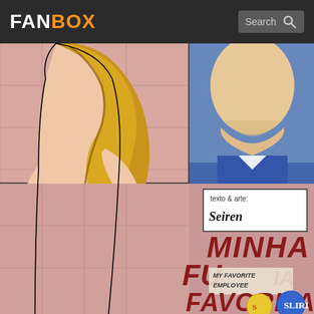FANBOX | Search
[Figure (illustration): Comic book cover illustration showing a female character from behind in bikini bottom and a male character in a suit, with Portuguese and English text reading 'texto & arte: Seiren', 'MINHA FU...ITA FAVORITA', 'MY FAVORITE EMPLOYEE', and 'Equipe Seiren' logo]